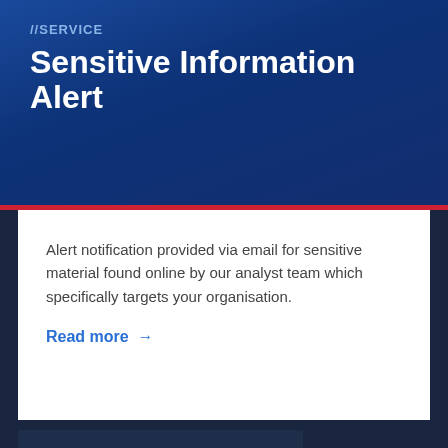//SERVICE
Sensitive Information Alert
Alert notification provided via email for sensitive material found online by our analyst team which specifically targets your organisation.
Read more →
Subscribe for updates.
Email →